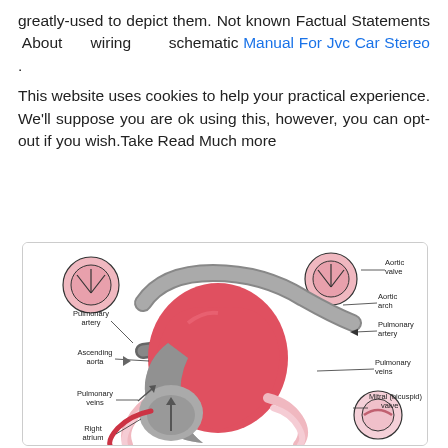greatly-used to depict them. Not known Factual Statements About wiring schematic Manual For Jvc Car Stereo .
This website uses cookies to help your practical experience. We'll suppose you are ok using this, however, you can opt-out if you wish.Take Read Much more
[Figure (illustration): Anatomical diagram of the human heart showing labeled structures including: Aortic valve, Aortic arch, Pulmonary artery (left and right), Pulmonary veins, Mitral (bicuspid) valve, Ascending aorta, Right atrium. The diagram shows cross-section views of valves and the heart's internal chambers with arrows indicating blood flow directions.]